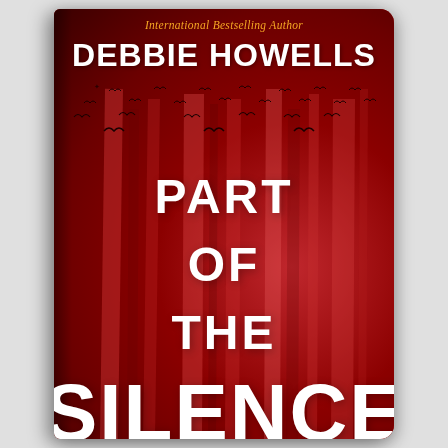[Figure (illustration): Book cover for 'Part of the Silence' by Debbie Howells. Deep red background with vertical streaking effect suggesting falling curtains or rain. Scattered bird silhouettes near the top. Text: 'International Bestselling Author' in gold italic at top, 'DEBBIE HOWELLS' in large white bold, then 'PART', 'OF', 'THE', 'SILENCE' stacked in large white bold letters.]